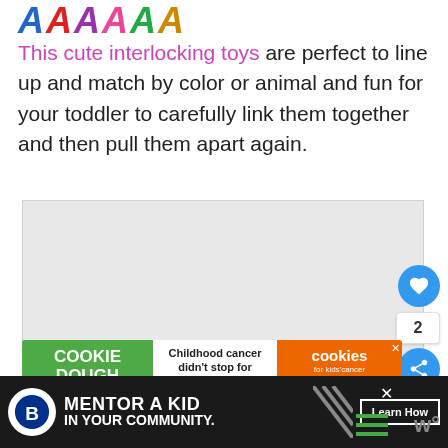[Figure (illustration): Colorful interlocking toy letter characters in blue, red, purple, pink, green, and gold/yellow, displayed in a row at the top]
This cute interlocking toys are perfect to line up and match by color or animal and fun for your toddler to carefully link them together and then pull them apart again.
[Figure (photo): Gray placeholder image for a product photo]
[Figure (screenshot): Cookie Dough advertisement banner: green left section with COOKIE DOUGH text, white middle with 'Childhood cancer didn't stop for COVID-19.', orange right with cookies for kids cancer logo and GET BAKING]
[Figure (screenshot): Big Brothers Big Sisters advertisement banner on black background: MENTOR A KID IN YOUR COMMUNITY. Learn How button, with diagonal lines and hamburger menu icons]